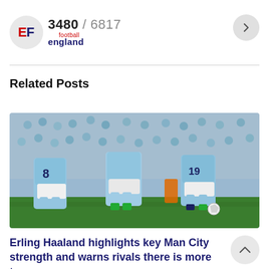3480 / 6817  football england
Related Posts
[Figure (photo): Manchester City players in light blue jerseys (numbers 8 and 19 visible) celebrating a goal on the pitch in front of a packed stadium crowd]
Erling Haaland highlights key Man City strength and warns rivals there is more to come